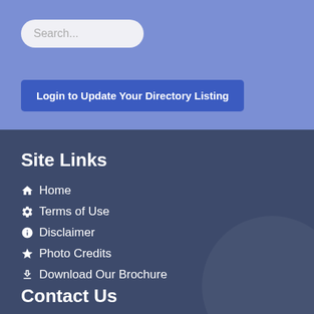Search...
Login to Update Your Directory Listing
Site Links
Home
Terms of Use
Disclaimer
Photo Credits
Download Our Brochure
Contact Us